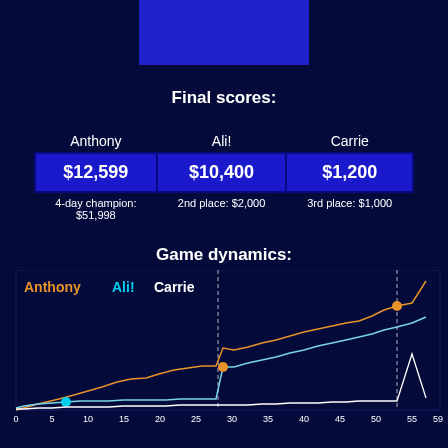[Figure (other): Blue rectangle banner at top of page]
Final scores:
| Anthony | Ali! | Carrie |
| --- | --- | --- |
| $12,599 | $10,400 | $1,200 |
| 4-day champion: $51,998 | 2nd place: $2,000 | 3rd place: $1,000 |
Game dynamics:
[Figure (line-chart): Line chart showing score progression for Anthony (orange), Ali! (cyan/blue), and Carrie (white) over 59 clues. Anthony peaks around clue 55-59 at top score ~$12,599. Ali! rises sharply after clue 28 to ~$10,400. Carrie stays low throughout ending at ~$1,200. Dashed vertical lines at clues 28-29 and 57-58. Dots mark key moments.]